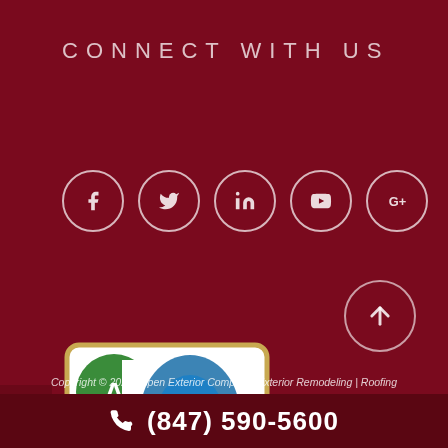CONNECT WITH US
[Figure (infographic): Social media icons in circles: Facebook, Twitter, LinkedIn, YouTube, Google+]
[Figure (logo): BBB Accredited Business A+ rating logo badge]
[Figure (infographic): Left floating contact icons: email envelope and phone]
[Figure (infographic): Scroll to top circular button with upward arrow]
Copyright © 2022 Aspen Exterior Company. Exterior Remodeling | Roofing
(847) 590-5600